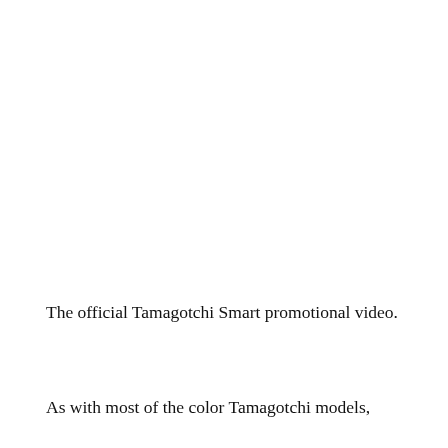The official Tamagotchi Smart promotional video.
As with most of the color Tamagotchi models,